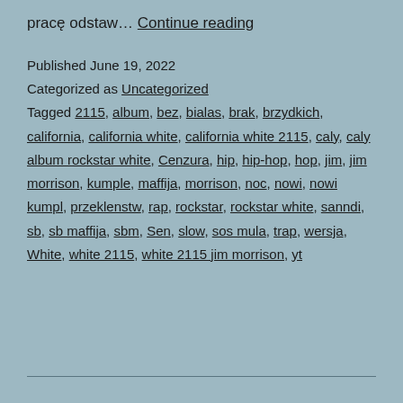pracę odstaw… Continue reading
Published June 19, 2022
Categorized as Uncategorized
Tagged 2115, album, bez, bialas, brak, brzydkich, california, california white, california white 2115, caly, caly album rockstar white, Cenzura, hip, hip-hop, hop, jim, jim morrison, kumple, maffija, morrison, noc, nowi, nowi kumpl, przeklenstw, rap, rockstar, rockstar white, sanndi, sb, sb maffija, sbm, Sen, slow, sos mula, trap, wersja, White, white 2115, white 2115 jim morrison, yt